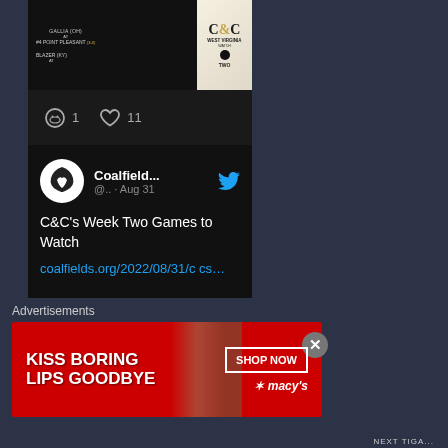[Figure (screenshot): Social media post image showing sports matchup scores - week two games listing with C&C West Virginia branding]
1  11
[Figure (screenshot): Tweet from Coalfield... @.. · Aug 31 - C&C's Week Two Games to Watch coalfields.org/2022/08/31/ccs...]
[Figure (screenshot): Second sports matchup image showing C&C West Virginia Games to Watch Week Two listings]
Advertisements
[Figure (photo): Macy's advertisement banner - KISS BORING LIPS GOODBYE with SHOP NOW button and Macy's logo]